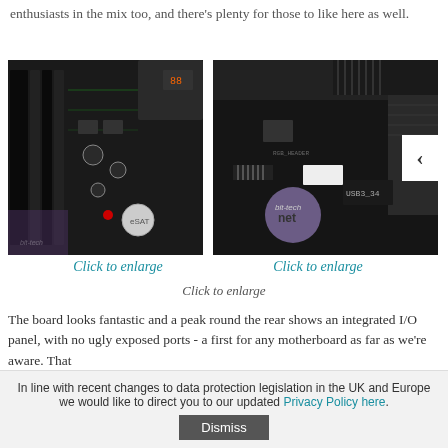enthusiasts in the mix too, and there's plenty for those to like here as well.
[Figure (photo): Close-up photo of a black motherboard PCB showing capacitors, heatsinks, memory slots, and other components]
[Figure (photo): Close-up photo of a black motherboard showing USB3_34 header, RGB header, and other connectors with a right-arrow navigation button]
Click to enlarge
Click to enlarge
Click to enlarge
The board looks fantastic and a peak round the rear shows an integrated I/O panel, with no ugly exposed ports - a first for any motherboard as far as we're aware. That
In line with recent changes to data protection legislation in the UK and Europe we would like to direct you to our updated Privacy Policy here.